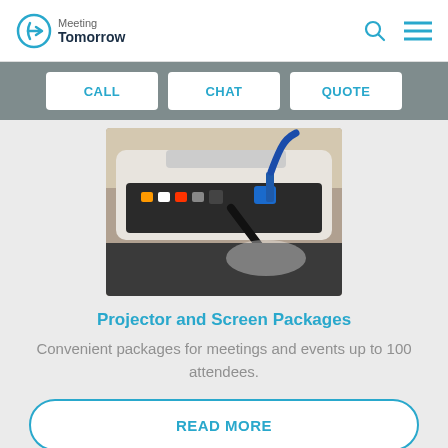Meeting Tomorrow
CALL   CHAT   QUOTE
[Figure (photo): Close-up photo of the back of a projector with cables connected, including a blue HDMI cable and other connectors, resting on a dark bag.]
Projector and Screen Packages
Convenient packages for meetings and events up to 100 attendees.
READ MORE